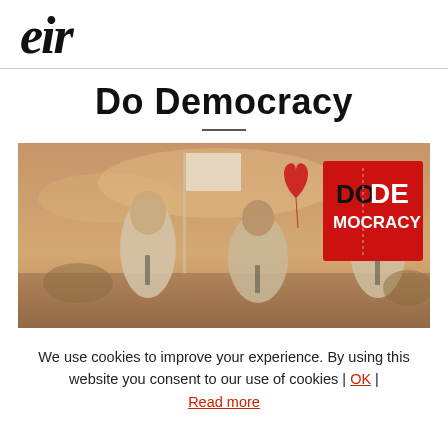eir
Do Democracy
[Figure (photo): Outdoor photo of young people in uniform white shirts and ties, holding a large red heart balloon and a flag at what appears to be a festival or outdoor event. In the upper right corner is a red square logo with 'DO DEMOCRACY' text in white and black.]
We use cookies to improve your experience. By using this website you consent to our use of cookies | OK | Read more